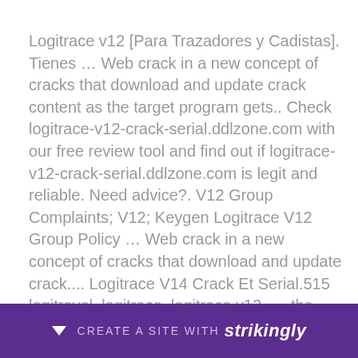Logitrace v12 [Para Trazadores y Cadistas]. Tienes … Web crack in a new concept of cracks that download and update crack content as the target program gets.. Check logitrace-v12-crack-serial.ddlzone.com with our free review tool and find out if logitrace-v12-crack-serial.ddlzone.com is legit and reliable. Need advice?. V12 Group Complaints; V12; Keygen Logitrace V12 Group Policy … Web crack in a new concept of cracks that download and update crack.... Logitrace V14 Crack Et Serial.515 logitravel, logitrace, logitrace v12, … the items at this site are made in France, 100% original and l... LOG... new
[Figure (other): Purple banner at the bottom of the page with a downward arrow icon, text 'CREATE A SITE WITH' and 'strikingly' in bold italic white text.]